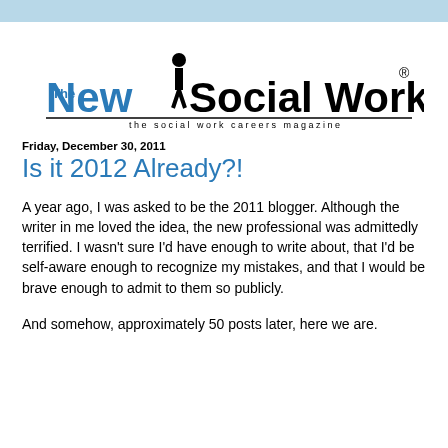[Figure (logo): The New Social Worker logo — the social work careers magazine]
Friday, December 30, 2011
Is it 2012 Already?!
A year ago, I was asked to be the 2011 blogger. Although the writer in me loved the idea, the new professional was admittedly terrified. I wasn't sure I'd have enough to write about, that I'd be self-aware enough to recognize my mistakes, and that I would be brave enough to admit to them so publicly.
And somehow, approximately 50 posts later, here we are.